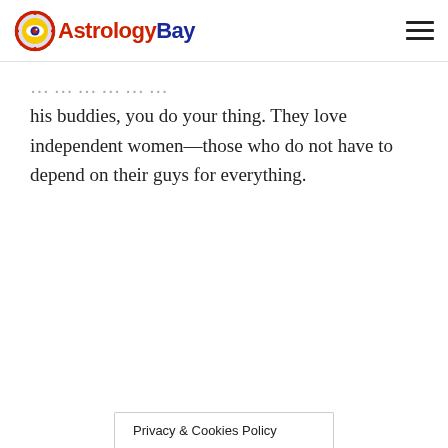AstrologyBay
his buddies, you do your thing. They love independent women—those who do not have to depend on their guys for everything.
Privacy & Cookies Policy